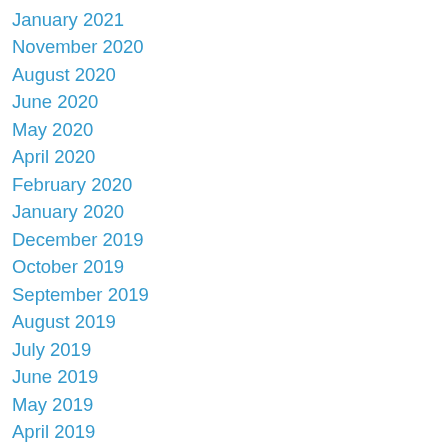January 2021
November 2020
August 2020
June 2020
May 2020
April 2020
February 2020
January 2020
December 2019
October 2019
September 2019
August 2019
July 2019
June 2019
May 2019
April 2019
March 2019
February 2019
January 2019
December 2018
November 2018